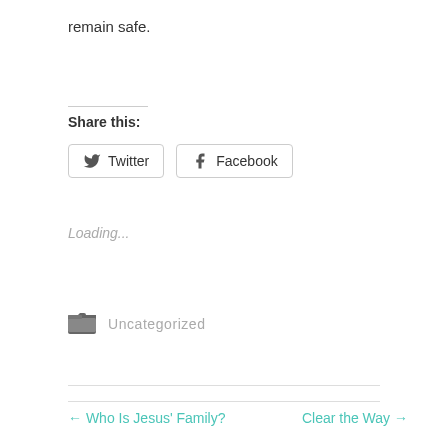remain safe.
Share this:
[Figure (other): Twitter and Facebook social share buttons]
Loading...
Uncategorized
← Who Is Jesus' Family?
Clear the Way →